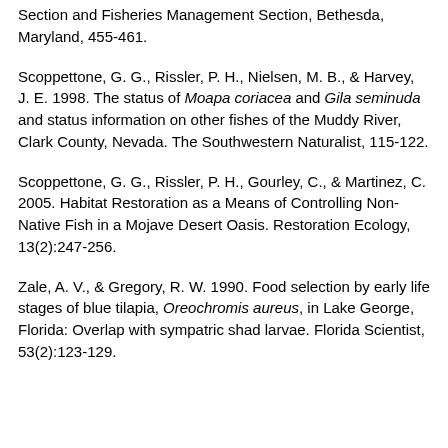Section and Fisheries Management Section, Bethesda, Maryland, 455-461.
Scoppettone, G. G., Rissler, P. H., Nielsen, M. B., & Harvey, J. E. 1998. The status of Moapa coriacea and Gila seminuda and status information on other fishes of the Muddy River, Clark County, Nevada. The Southwestern Naturalist, 115-122.
Scoppettone, G. G., Rissler, P. H., Gourley, C., & Martinez, C. 2005. Habitat Restoration as a Means of Controlling Non-Native Fish in a Mojave Desert Oasis. Restoration Ecology, 13(2):247-256.
Zale, A. V., & Gregory, R. W. 1990. Food selection by early life stages of blue tilapia, Oreochromis aureus, in Lake George, Florida: Overlap with sympatric shad larvae. Florida Scientist, 53(2):123-129.